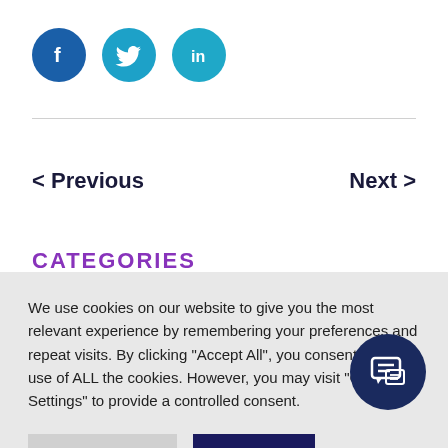[Figure (illustration): Three social media icons: Facebook (dark blue circle with 'f'), Twitter (teal circle with bird), LinkedIn (teal circle with 'in')]
< Previous
Next >
CATEGORIES
We use cookies on our website to give you the most relevant experience by remembering your preferences and repeat visits. By clicking "Accept All", you consent to the use of ALL the cookies. However, you may visit "Cookie Settings" to provide a controlled consent.
Cookie Settings
Accept All
[Figure (illustration): Dark navy circular chat/messaging button with speech bubble icon]